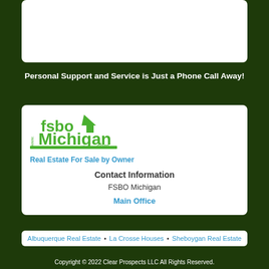[Figure (other): White box area at top of page (image/content area placeholder)]
Personal Support and Service is Just a Phone Call Away!
[Figure (logo): FSBO Michigan logo with house graphic and www.fsboMichigan.com text]
Real Estate For Sale by Owner
Contact Information
FSBO Michigan
Main Office
Albuquerque Real Estate • La Crosse Houses • Sheboygan Real Estate
Copyright © 2022 Clear Prospects LLC All Rights Reserved.